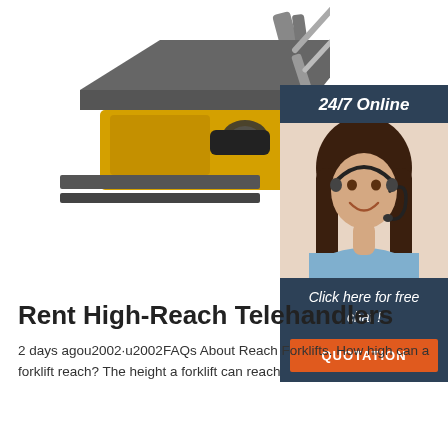[Figure (photo): Partial view of a yellow forklift/telehandler machine from above, showing the operator seat, steering wheel, and boom arm against a white background]
[Figure (infographic): Sidebar panel with dark blue background showing '24/7 Online' header text, a photo of a smiling woman with headset, 'Click here for free chat!' text, and an orange QUOTATION button]
Rent High-Reach Telehandlers
2 days agou2002·u2002FAQs About Reach Forklifts. How high can a forklift reach? The height a forklift can reach